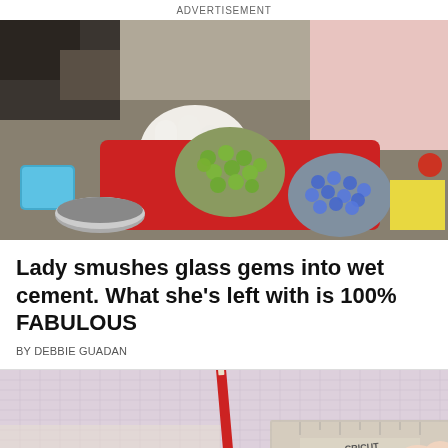ADVERTISEMENT
[Figure (photo): Person wearing white latex glove pressing glass gems into red mold with wet cement. Green glass gems in upper circle, blue/clear glass gems in lower circle. Craft supplies visible around the mold.]
Lady smushes glass gems into wet cement. What she's left with is 100% FABULOUS
BY DEBBIE GUADAN
[Figure (photo): Close-up of a pink cutting mat with grid lines, a red pencil, and what appears to be patterned fabric or paper with a craft cutting tool visible.]